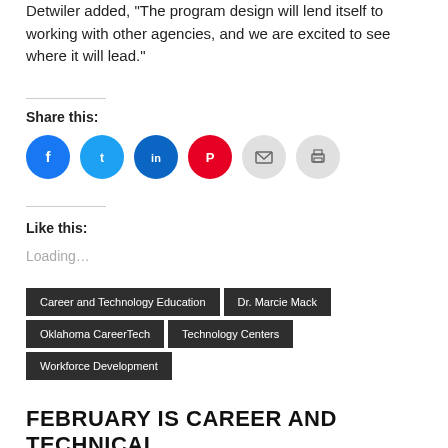Detwiler added, "The program design will lend itself to working with other agencies, and we are excited to see where it will lead."
Share this:
[Figure (infographic): Social share icons: Facebook (blue), Twitter (blue), LinkedIn (dark blue), Pinterest (red), Email (gray), Print (gray)]
Like this:
Loading...
Career and Technology Education
Dr. Marcie Mack
Oklahoma CareerTech
Technology Centers
Workforce Development
FEBRUARY IS CAREER AND TECHNICAL